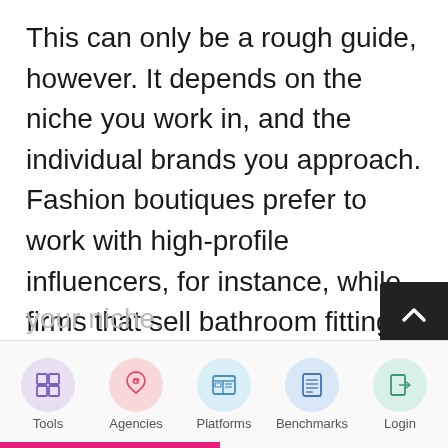This can only be a rough guide, however. It depends on the niche you work in, and the individual brands you approach. Fashion boutiques prefer to work with high-profile influencers, for instance, while firms that sell bathroom fittings will be happier to work with a micro-influencer. Businesses set their budgets at a level that reflects the level of influencer they feel will best represent them. Brands will also set their rate according to the level of authority they believe you have in your niche.
[Figure (other): Navigation bar with five icons: Tools (purple circle with grid icon), Agencies (pink circle with rocket icon), Platforms (blue circle with browser/layout icon), Benchmarks (blue circle with document/list icon), Login (green circle with door/window icon). Pink scroll-to-top button (dark square with up arrow chevron) on right side. Pink underline bar at bottom left.]